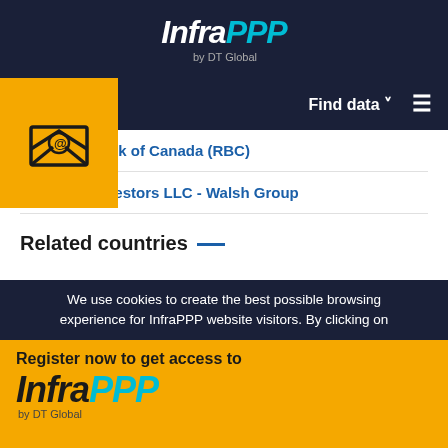InfraPPP by DT Global
[Figure (logo): InfraPPP by DT Global logo in white and cyan on dark navy background]
[Figure (illustration): Email envelope icon with @ symbol on yellow/gold background]
Royal Bank of Canada (RBC)
Walsh Investors LLC - Walsh Group
Related countries
Canada
We use cookies to create the best possible browsing experience for InfraPPP website visitors. By clicking on
Register now to get access to InfraPPP by DT Global